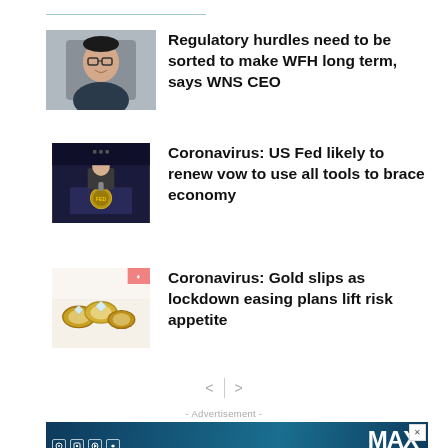[Figure (photo): Top navigation divider line]
[Figure (photo): Portrait photo of WNS CEO man with glasses in suit]
Regulatory hurdles need to be sorted to make WFH long term, says WNS CEO
[Figure (photo): Photo of man at podium with Federal Reserve seal]
Coronavirus: US Fed likely to renew vow to use all tools to brace economy
[Figure (photo): Photo of gold jewelry rings]
Coronavirus: Gold slips as lockdown easing plans lift risk appetite
< >
- Advertisement -
[Figure (photo): Advertisement banner for MAXX life insurance with logo and social media icons, www.maxxolife.com]